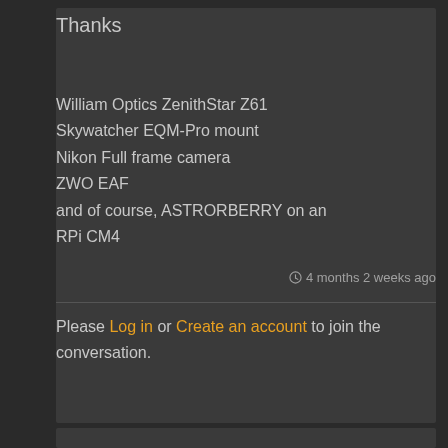Thanks
William Optics ZenithStar Z61
Skywatcher EQM-Pro mount
Nikon Full frame camera
ZWO EAF
and of course, ASTRORBERRY on an RPi CM4
4 months 2 weeks ago
Please Log in or Create an account to join the conversation.